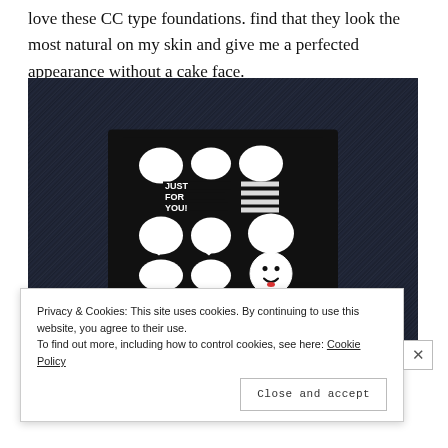love these CC type foundations. find that they look the most natural on my skin and give me a perfected appearance without a cake face.
[Figure (photo): A black cardboard box with white graphic design reading 'JUST FOR YOU!' with speech bubble and emoji icons, resting on a dark blue-grey furry surface.]
Privacy & Cookies: This site uses cookies. By continuing to use this website, you agree to their use. To find out more, including how to control cookies, see here: Cookie Policy
Close and accept